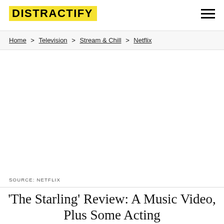DISTRACTIFY
Home > Television > Stream & Chill > Netflix
[Figure (photo): Large image placeholder area (white/blank), SOURCE: NETFLIX]
SOURCE: NETFLIX
'The Starling' Review: A Music Video, Plus Some Acting